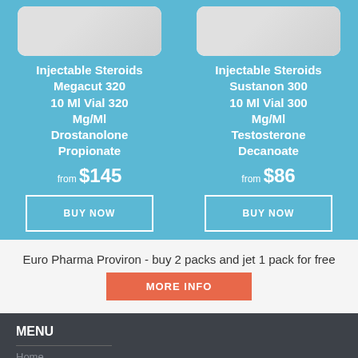[Figure (photo): Product image of Injectable Steroids Megacut 320 vial inside white rounded card]
Injectable Steroids Megacut 320 10 Ml Vial 320 Mg/Ml Drostanolone Propionate
from $145
BUY NOW
[Figure (photo): Product image of Injectable Steroids Sustanon 300 vial inside white rounded card]
Injectable Steroids Sustanon 300 10 Ml Vial 300 Mg/Ml Testosterone Decanoate
from $86
BUY NOW
Euro Pharma Proviron - buy 2 packs and jet 1 pack for free
MORE INFO
MENU
Home